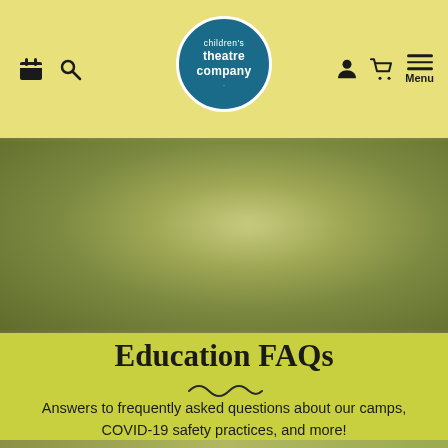Children's Theatre Company — site navigation header with logo, calendar, search, user, cart, and menu icons
[Figure (photo): Blurred outdoor background image with green/olive tones]
Education FAQs
Answers to frequently asked questions about our camps, COVID-19 safety practices, and more!
LEARN MORE →